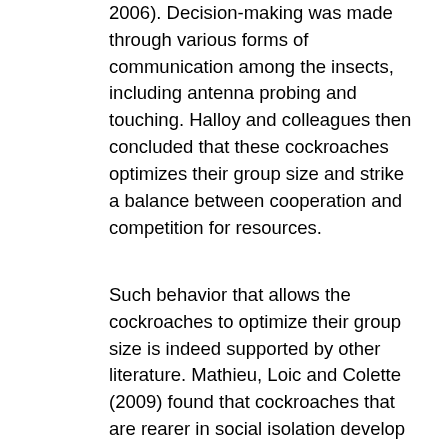2006). Decision-making was made through various forms of communication among the insects, including antenna probing and touching. Halloy and colleagues then concluded that these cockroaches optimizes their group size and strike a balance between cooperation and competition for resources.
Such behavior that allows the cockroaches to optimize their group size is indeed supported by other literature. Mathieu, Loic and Colette (2009) found that cockroaches that are rearer in social isolation develop certain negative behavioral syndromes, including reduced foraging activity and reduced ability to assess mating partner quality. This shows that living in groups,optimizing group size and sharing of resources are